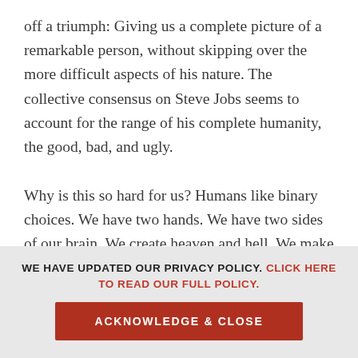off a triumph: Giving us a complete picture of a remarkable person, without skipping over the more difficult aspects of his nature. The collective consensus on Steve Jobs seems to account for the range of his complete humanity, the good, bad, and ugly.

Why is this so hard for us? Humans like binary choices. We have two hands. We have two sides of our brain. We create heaven and hell. We make a choice and the inertia created by that choice pins us to the spot. It's how we are wired. In order to organize the world, we have to take in an
WE HAVE UPDATED OUR PRIVACY POLICY. CLICK HERE TO READ OUR FULL POLICY.
ACKNOWLEDGE & CLOSE